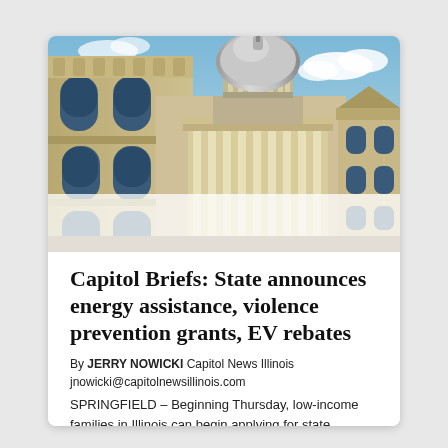[Figure (photo): Looking up at the Illinois State Capitol building dome and ornate facade against a partly cloudy blue sky, shot from a low angle.]
Capitol Briefs: State announces energy assistance, violence prevention grants, EV rebates
By JERRY NOWICKI Capitol News Illinois jnowicki@capitolnewsillinois.com SPRINGFIELD – Beginning Thursday, low-income families in Illinois can begin applying for state assistance on their natural gas, propane and electricity bills. The Low-Income